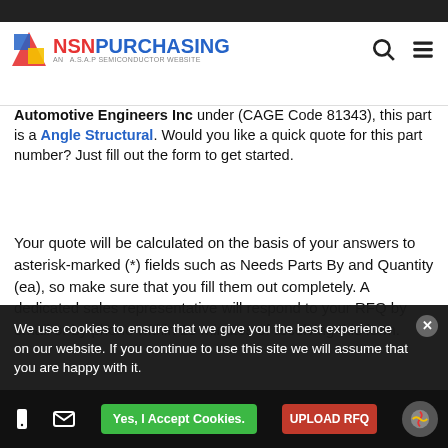NSN PURCHASING - AN A.S.A.P SEMICONDUCTOR WEBSITE
Automotive Engineers Inc under (CAGE Code 81343), this part is a Angle Structural. Would you like a quick quote for this part number? Just fill out the form to get started.
Your quote will be calculated on the basis of your answers to asterisk-marked (*) fields such as Needs Parts By and Quantity (ea), so make sure that you fill them out completely. A dedicated sales representative will respond to your RFQ by email or by phone within 15 minutes of receiving this form.
PRODUCT DETAILS
"*" Required fields are compulsory
We use cookies to ensure that we give you the best experience on our website. If you continue to use this site we will assume that you are happy with it.
Enter Mfg Part Number*
Yes, I Accept Cookies.
UPLOAD RFQ